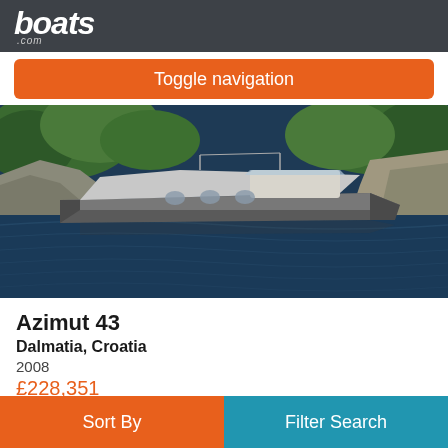boats.com
Toggle navigation
[Figure (photo): A white motor yacht (Azimut 43) moored near a rocky, forested coastline on blue water]
Azimut 43
Dalmatia, Croatia
2008
£228,351
Seller Dalmatia Yachting d.o.o.
Sort By
Filter Search